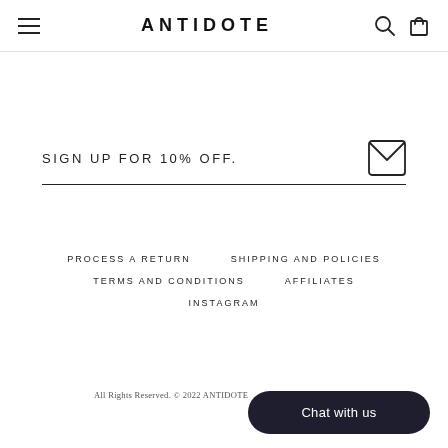ANTIDOTE
SIGN UP FOR 10% OFF.
PROCESS A RETURN
SHIPPING AND POLICIES
TERMS AND CONDITIONS
AFFILIATES
INSTAGRAM
All Rights Reserved. © 2022 ANTIDOTE
Chat with us